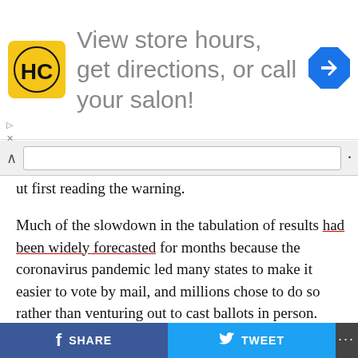[Figure (other): Advertisement banner with HC logo and text 'View store hours, get directions, or call your salon!' with a navigation arrow icon]
ut first reading the warning.
Much of the slowdown in the tabulation of results had been widely forecasted for months because the coronavirus pandemic led many states to make it easier to vote by mail, and millions chose to do so rather than venturing out to cast ballots in person. Mail ballots can take longer to process than ballots cast at polling places.
In a Sept. 3 post, Facebook CEO Mark Zuckerberg said that if a candidate or campaign tries to declare victory before the results are in, the social network would label their post to note that official results are not yet in and
SHARE   TWEET   ...